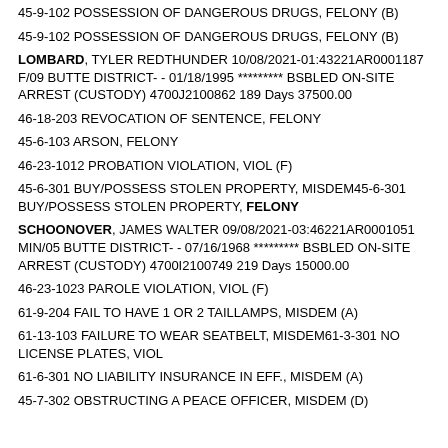45-9-102 POSSESSION OF DANGEROUS DRUGS, FELONY (B)
45-9-102 POSSESSION OF DANGEROUS DRUGS, FELONY (B)
LOMBARD, TYLER REDTHUNDER 10/08/2021-01:43221AR0001187 F/09 BUTTE DISTRICT- - 01/18/1995 ********* BSBLED ON-SITE ARREST (CUSTODY) 4700J2100862 189 Days 37500.00
46-18-203 REVOCATION OF SENTENCE, FELONY
45-6-103 ARSON, FELONY
46-23-1012 PROBATION VIOLATION, VIOL (F)
45-6-301 BUY/POSSESS STOLEN PROPERTY, MISDEM45-6-301 BUY/POSSESS STOLEN PROPERTY, FELONY
SCHOONOVER, JAMES WALTER 09/08/2021-03:46221AR0001051 MIN/05 BUTTE DISTRICT- - 07/16/1968 ********* BSBLED ON-SITE ARREST (CUSTODY) 4700I2100749 219 Days 15000.00
46-23-1023 PAROLE VIOLATION, VIOL (F)
61-9-204 FAIL TO HAVE 1 OR 2 TAILLAMPS, MISDEM (A)
61-13-103 FAILURE TO WEAR SEATBELT, MISDEM61-3-301 NO LICENSE PLATES, VIOL
61-6-301 NO LIABILITY INSURANCE IN EFF., MISDEM (A)
45-7-302 OBSTRUCTING A PEACE OFFICER, MISDEM (D)